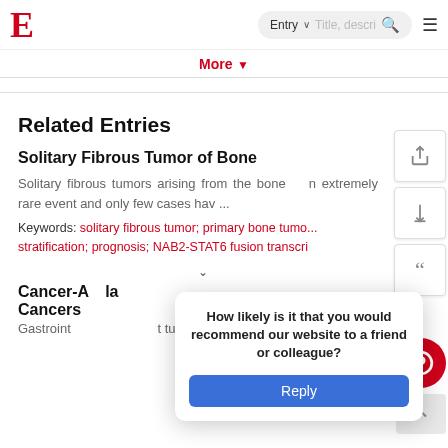E  Entry  Title, description [search] ≡
More ▾
Related Entries
Solitary Fibrous Tumor of Bone
Solitary fibrous tumors arising from the bone n extremely rare event and only few cases hav...
Keywords: solitary fibrous tumor; primary bone tumo... stratification; prognosis; NAB2-STAT6 fusion transcri...
Cancer-A... Cancers
Gastroint                                             t tumors